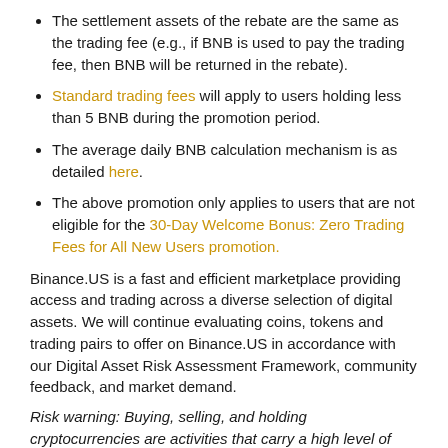The settlement assets of the rebate are the same as the trading fee (e.g., if BNB is used to pay the trading fee, then BNB will be returned in the rebate).
Standard trading fees will apply to users holding less than 5 BNB during the promotion period.
The average daily BNB calculation mechanism is as detailed here.
The above promotion only applies to users that are not eligible for the 30-Day Welcome Bonus: Zero Trading Fees for All New Users promotion.
Binance.US is a fast and efficient marketplace providing access and trading across a diverse selection of digital assets. We will continue evaluating coins, tokens and trading pairs to offer on Binance.US in accordance with our Digital Asset Risk Assessment Framework, community feedback, and market demand.
Risk warning: Buying, selling, and holding cryptocurrencies are activities that carry a high level of risk. Therefore, it...